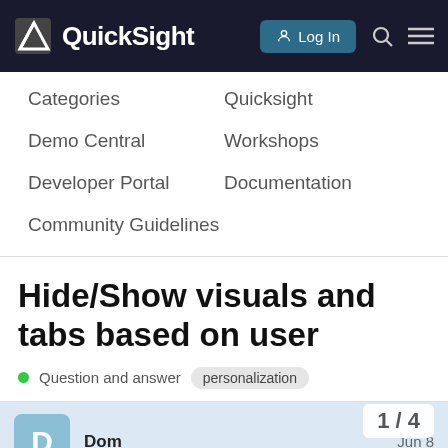QuickSight — Log In navigation bar
Categories
Demo Central
Developer Portal
Community Guidelines
Quicksight
Workshops
Documentation
Hide/Show visuals and tabs based on user
Question and answer   personalization
Dom   Jun 8
We would like to see if is possible to auto hide certain visuals based on user type (l…
1 / 4